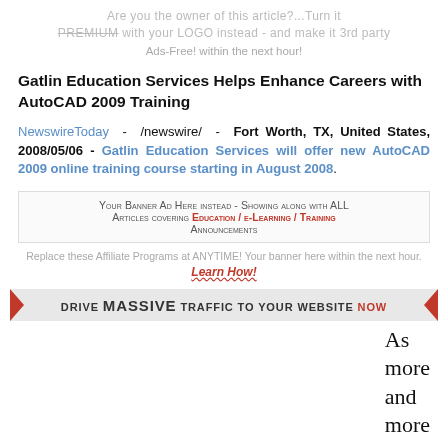Are you the owner of this article?...Turn it PREMIUM with your LOGO instead - and make it 3rd party Ads-Free! within the next hour!
Gatlin Education Services Helps Enhance Careers with AutoCAD 2009 Training
NewswireToday - /newswire/ - Fort Worth, TX, United States, 2008/05/06 - Gatlin Education Services will offer new AutoCAD 2009 online training course starting in August 2008.
Your Banner Ad Here instead - Showing along with ALL Articles covering Education / e-Learning / Training Announcements
Replace these Affiliate Programs at ANYTIME! Your banner here within the next hour. Learn How!
DRIVE MASSIVE TRAFFIC TO YOUR WEBSITE NOW
As more and more